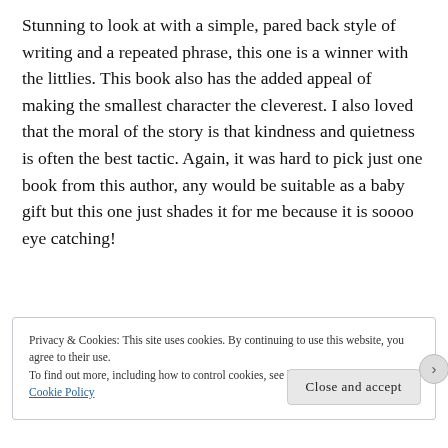Stunning to look at with a simple, pared back style of writing and a repeated phrase, this one is a winner with the littlies. This book also has the added appeal of making the smallest character the cleverest. I also loved that the moral of the story is that kindness and quietness is often the best tactic. Again, it was hard to pick just one book from this author, any would be suitable as a baby gift but this one just shades it for me because it is soooo eye catching!
Privacy & Cookies: This site uses cookies. By continuing to use this website, you agree to their use.
To find out more, including how to control cookies, see here: Cookie Policy